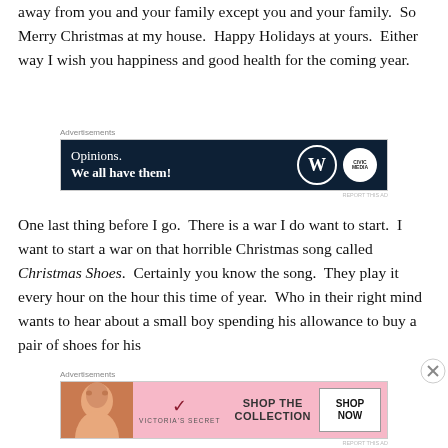away from you and your family except you and your family.  So Merry Christmas at my house.  Happy Holidays at yours.  Either way I wish you happiness and good health for the coming year.
[Figure (other): WordPress.com advertisement with dark navy background. Text reads 'Opinions. We all have them!' with WordPress W logo circle and Civil Media logo circle on the right.]
One last thing before I go.  There is a war I do want to start.  I want to start a war on that horrible Christmas song called Christmas Shoes.  Certainly you know the song.  They play it every hour on the hour this time of year.  Who in their right mind wants to hear about a small boy spending his allowance to buy a pair of shoes for his
[Figure (other): Victoria's Secret advertisement with pink background. Shows woman's face, VS logo, and text 'SHOP THE COLLECTION' with 'SHOP NOW' button.]